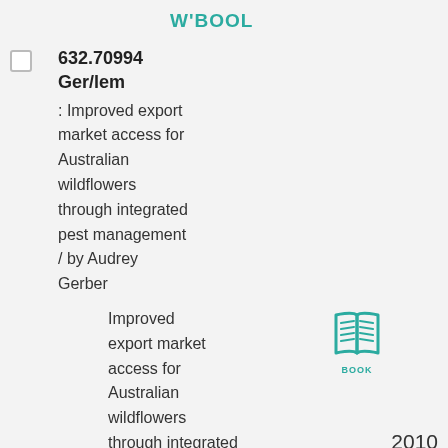W'BOOL
632.70994 Ger/lem : Improved export market access for Australian wildflowers through integrated pest management / by Audrey Gerber
Improved export market access for Australian wildflowers through integrated
[Figure (illustration): Book icon in teal/green color with label BOOK below it]
2010